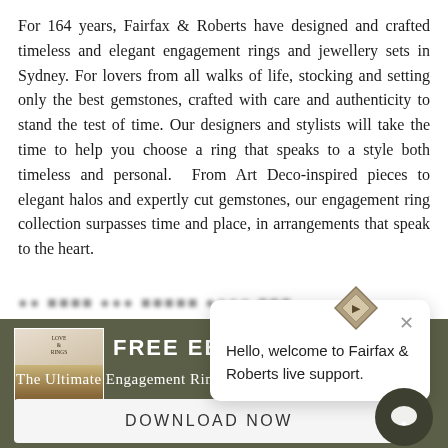For 164 years, Fairfax & Roberts have designed and crafted timeless and elegant engagement rings and jewellery sets in Sydney. For lovers from all walks of life, stocking and setting only the best gemstones, crafted with care and authenticity to stand the test of time. Our designers and stylists will take the time to help you choose a ring that speaks to a style both timeless and personal. From Art Deco-inspired pieces to elegant halos and expertly cut gemstones, our engagement ring collection surpasses time and place, in arrangements that speak to the heart.
[Figure (screenshot): Dark olive-green promotional banner showing a free ebook offer for 'The Ultimate Engagement Ring Guide' with a thumbnail image of a couple, and a live chat support popup saying 'Hello, welcome to Fairfax & Roberts live support.' with a close button. A download now button is shown at the bottom.]